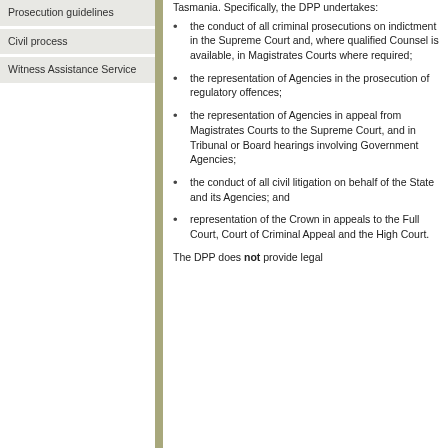Prosecution guidelines
Civil process
Witness Assistance Service
Tasmania. Specifically, the DPP undertakes:
the conduct of all criminal prosecutions on indictment in the Supreme Court and, where qualified Counsel is available, in Magistrates Courts where required;
the representation of Agencies in the prosecution of regulatory offences;
the representation of Agencies in appeal from Magistrates Courts to the Supreme Court, and in Tribunal or Board hearings involving Government Agencies;
the conduct of all civil litigation on behalf of the State and its Agencies;  and
representation of the Crown in appeals to the Full Court, Court of Criminal Appeal and the High Court.
The DPP does not provide legal